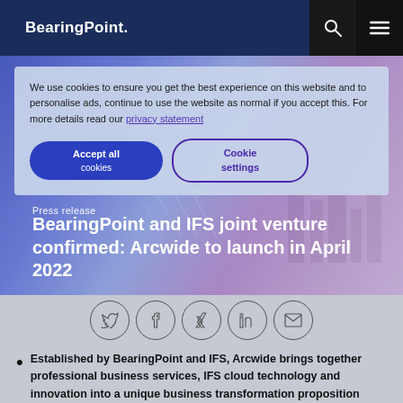BearingPoint.
[Figure (photo): Hero image of a city bridge with purple-blue toned overlay, showing urban infrastructure]
Press release
BearingPoint and IFS joint venture confirmed: Arcwide to launch in April 2022
We use cookies to ensure you get the best experience on this website and to personalise ads, continue to use the website as normal if you accept this. For more details read our privacy statement
Accept all cookies | Cookie settings
[Figure (infographic): Social share icons row: Twitter, Facebook, Xing, LinkedIn, Email]
Established by BearingPoint and IFS, Arcwide brings together professional business services, IFS cloud technology and innovation into a unique business transformation proposition